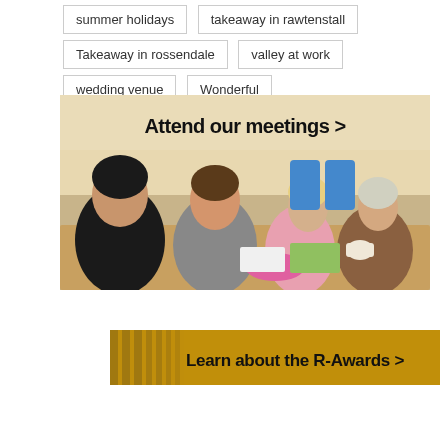summer holidays
takeaway in rawtenstall
Takeaway in rossendale
valley at work
wedding venue
Wonderful
[Figure (photo): Group of women sitting around a table at a meeting room, with text overlay 'Attend our meetings >']
[Figure (photo): Banner with text 'Learn about the R-Awards >' on a golden/brown background]